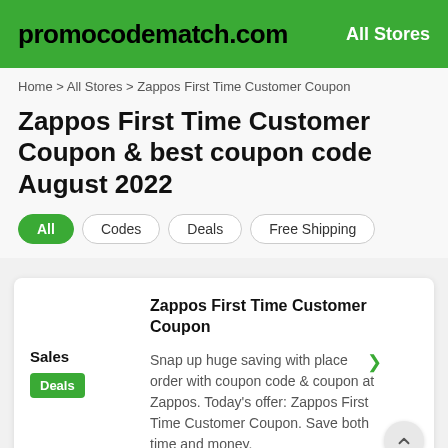promocodematch.com   All Stores
Home > All Stores > Zappos First Time Customer Coupon
Zappos First Time Customer Coupon & best coupon code August 2022
All  Codes  Deals  Free Shipping
Zappos First Time Customer Coupon
Sales
Deals
Snap up huge saving with place order with coupon code & coupon at Zappos. Today's offer: Zappos First Time Customer Coupon. Save both time and money.
Expire 19-11-22